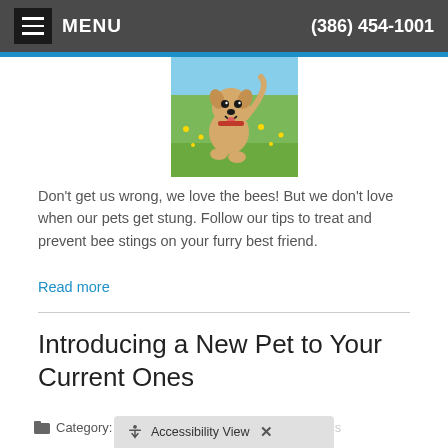MENU   (386) 454-1001
[Figure (photo): A happy Shiba Inu dog running through a field of yellow flowers]
Don't get us wrong, we love the bees! But we don't love when our pets get stung. Follow our tips to treat and prevent bee stings on your furry best friend.
Read more
Introducing a New Pet to Your Current Ones
Category: Newsletter Library, Tips for Pet Owners